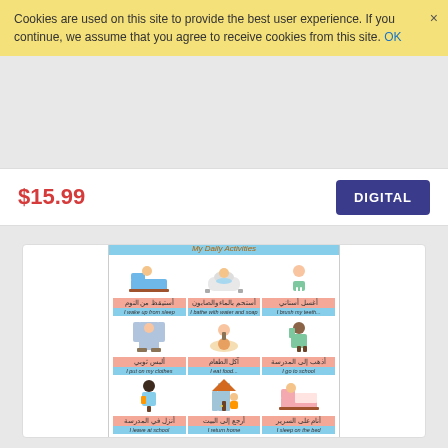Cookies are used on this site to provide the best user experience. If you continue, we assume that you agree to receive cookies from this site. OK
$15.99
DIGITAL
[Figure (illustration): A worksheet preview showing 'My Daily Activities' (Arabic: أنشطتي اليومية) with 9 illustrated activity cards in a 3x3 grid. Each card shows a cartoon child doing a daily activity with Arabic and English labels: wake up, bathe, brush teeth, put on clothes, eat food, go to school, leave school, return home, sleep on bed.]